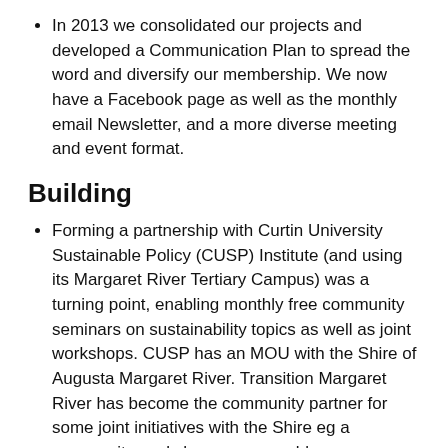In 2013 we consolidated our projects and developed a Communication Plan to spread the word and diversify our membership. We now have a Facebook page as well as the monthly email Newsletter, and a more diverse meeting and event format.
Building
Forming a partnership with Curtin University Sustainable Policy (CUSP) Institute (and using its Margaret River Tertiary Campus) was a turning point, enabling monthly free community seminars on sustainability topics as well as joint workshops. CUSP has an MOU with the Shire of Augusta Margaret River. Transition Margaret River has become the community partner for some joint initiatives with the Shire eg a community workshop on renewable energy.
Since 2012 our network has grown to about 450 people and community groups with a core group of